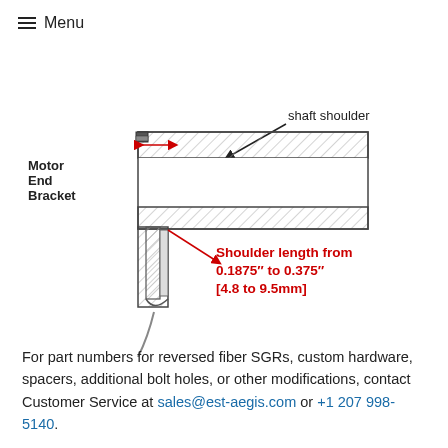≡ Menu
[Figure (engineering-diagram): Cross-section engineering diagram of a motor end bracket and shaft shoulder assembly. Shows the motor end bracket on the left with hatching, the shaft shoulder region labeled at top right, a small dimension arrow in red showing the shoulder length measurement, and a red callout text: 'Shoulder length from 0.1875″ to 0.375″ [4.8 to 9.5mm]'. A wire or cable exits at the bottom.]
For part numbers for reversed fiber SGRs, custom hardware, spacers, additional bolt holes, or other modifications, contact Customer Service at sales@est-aegis.com or +1 207 998-5140.